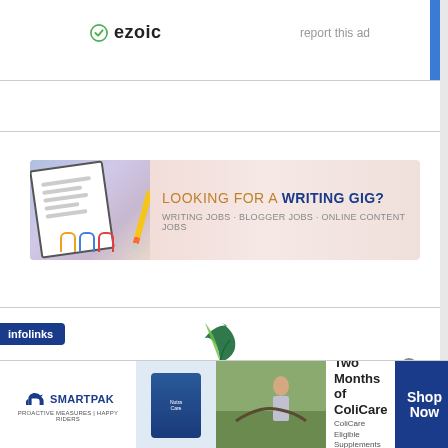[Figure (logo): Ezoic logo with green checkmark icon and 'ezoic' text, with 'report this ad' link and blue sidebar bar]
[Figure (screenshot): Empty white ad placeholder section]
[Figure (infographic): Advertisement banner: LOOKING FOR A WRITING GIG? WRITING JOBS · BLOGGER JOBS · ONLINE CONTENT JOBS with stationery image on left]
[Figure (screenshot): Infolinks tag on left, partial leaf logo visible in center, partial text below]
[Figure (infographic): SmartPak advertisement banner: 50% Off Two Months of ColiCare, ColiCare Eligible Supplements, CODE: COLICARE10, Shop Now button. Horse and rider photo, SmartPak logo.]